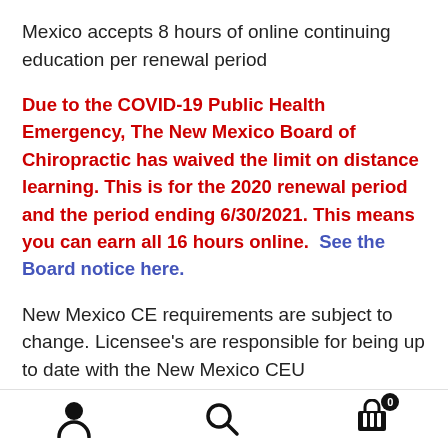Mexico accepts 8 hours of online continuing education per renewal period
Due to the COVID-19 Public Health Emergency, The New Mexico Board of Chiropractic has waived the limit on distance learning. This is for the 2020 renewal period and the period ending 6/30/2021. This means you can earn all 16 hours online.  See the Board notice here.
New Mexico CE requirements are subject to change. Licensee's are responsible for being up to date with the New Mexico CEU requirements.
[user icon] [search icon] [cart icon with badge 0]